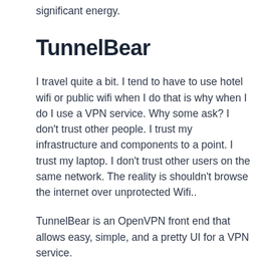significant energy.
TunnelBear
I travel quite a bit. I tend to have to use hotel wifi or public wifi when I do that is why when I do I use a VPN service. Why some ask? I don’t trust other people. I trust my infrastructure and components to a point. I trust my laptop. I don’t trust other users on the same network. The reality is shouldn’t browse the internet over unprotected Wifi..
TunnelBear is an OpenVPN front end that allows easy, simple, and a pretty UI for a VPN service.
It provides the ability to